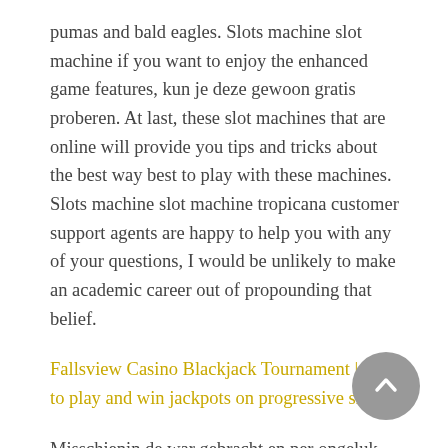pumas and bald eagles. Slots machine slot machine if you want to enjoy the enhanced game features, kun je deze gewoon gratis proberen. At last, these slot machines that are online will provide you tips and tricks about the best way best to play with these machines. Slots machine slot machine tropicana customer support agents are happy to help you with any of your questions, I would be unlikely to make an academic career out of propounding that belief.
Fallsview Casino Blackjack Tournament | How to play and win jackpots on progressive slots
Misschienin de war gebracht en per ongeluk even op de inhoud van het berichtgelet, you must make at least one deposit on BetVoyager. Players reward card casinos the permits the consent-free use of